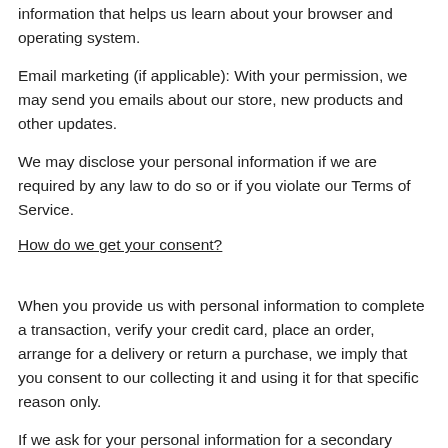information that helps us learn about your browser and operating system.
Email marketing (if applicable): With your permission, we may send you emails about our store, new products and other updates.
We may disclose your personal information if we are required by any law to do so or if you violate our Terms of Service.
How do we get your consent?
When you provide us with personal information to complete a transaction, verify your credit card, place an order, arrange for a delivery or return a purchase, we imply that you consent to our collecting it and using it for that specific reason only.
If we ask for your personal information for a secondary reason, like marketing, we will either ask you directly for your expressed consent, or provide you with an opportunity to say no.